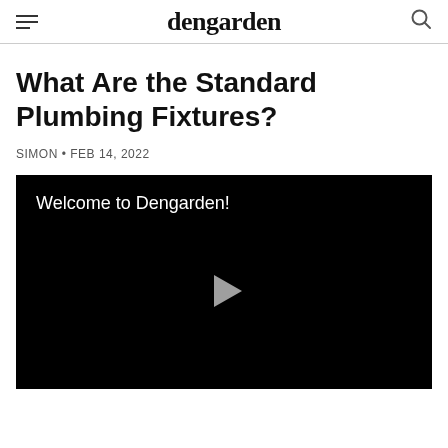dengarden
What Are the Standard Plumbing Fixtures?
SIMON • FEB 14, 2022
[Figure (screenshot): Video player with black background showing 'Welcome to Dengarden!' text and a play button in the center]